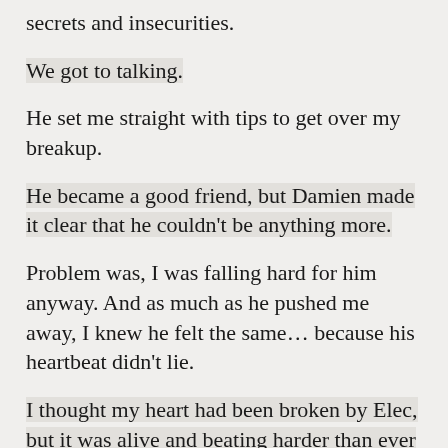secrets and insecurities.
We got to talking.
He set me straight with tips to get over my breakup.
He became a good friend, but Damien made it clear that he couldn't be anything more.
Problem was, I was falling hard for him anyway. And as much as he pushed me away, I knew he felt the same… because his heartbeat didn't lie.
I thought my heart had been broken by Elec, but it was alive and beating harder than ever for Damien.
I just hoped he wouldn't shatter it for good.
Author's note – Neighbor Dearest is a full-length standalone novel. Due to strong language and sexual content, this book is not intended for readers under the